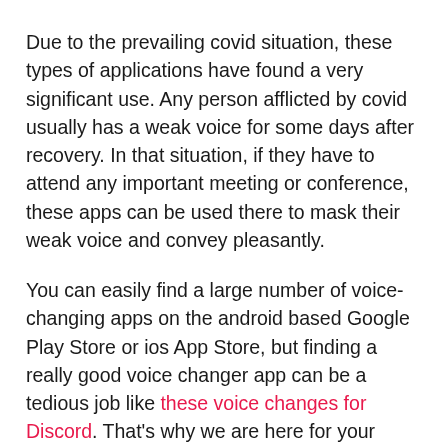Due to the prevailing covid situation, these types of applications have found a very significant use. Any person afflicted by covid usually has a weak voice for some days after recovery. In that situation, if they have to attend any important meeting or conference, these apps can be used there to mask their weak voice and convey pleasantly.
You can easily find a large number of voice-changing apps on the android based Google Play Store or ios App Store, but finding a really good voice changer app can be a tedious job like these voice changes for Discord. That’s why we are here for your rescue. In this article, we are going to list out some of the best voice changing apps you should try. Even if you accidentally stumble upon this article, then also you can try these